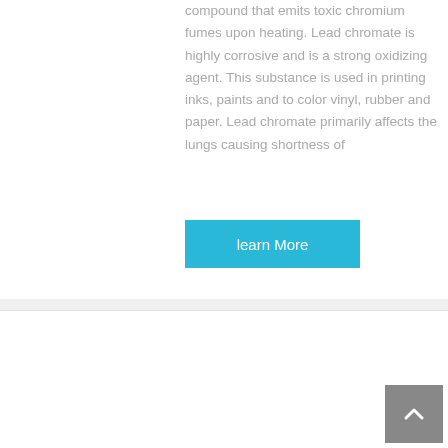compound that emits toxic chromium fumes upon heating. Lead chromate is highly corrosive and is a strong oxidizing agent. This substance is used in printing inks, paints and to color vinyl, rubber and paper. Lead chromate primarily affects the lungs causing shortness of
learn More
[Figure (photo): Photo of a large orange truck/semi-trailer in front of an industrial building]
Minecraft Bedrock Wiki | Fandom
Liming · Welcome to the Minecraft: